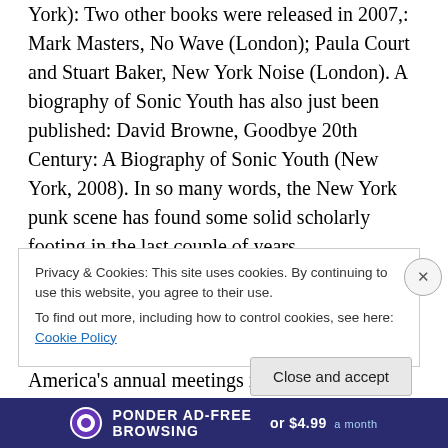York): Two other books were released in 2007,: Mark Masters, No Wave (London); Paula Court and Stuart Baker, New York Noise (London). A biography of Sonic Youth has also just been published: David Browne, Goodbye 20th Century: A Biography of Sonic Youth (New York, 2008). In so many words, the New York punk scene has found some solid scholarly footing in the last couple of years.
There have also been some serious attempts to document the visual tradition of punk rock. While attending the Archaeological Institute of America's annual meetings in
Privacy & Cookies: This site uses cookies. By continuing to use this website, you agree to their use.
To find out more, including how to control cookies, see here: Cookie Policy
Close and accept
[Figure (other): Advertisement bar at bottom: circular logo, PONDER AD-FREE BROWSING text, or $4.99 a month]